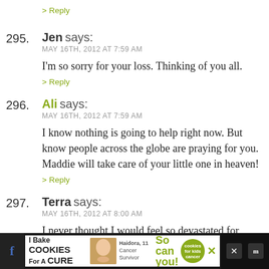> Reply
295. Jen says:
MAY 16TH, 2012 AT 7:59 AM
I'm so sorry for your loss. Thinking of you all.
> Reply
296. Ali says:
MAY 16TH, 2012 AT 7:59 AM
I know nothing is going to help right now. But know people across the globe are praying for you. Maddie will take care of your little one in heaven!
> Reply
297. Terra says:
MAY 16TH, 2012 AT 8:00 AM
I never thought I would feel so devastated for somone I am so so very sorry for you Heather and Mike...
[Figure (infographic): Advertisement banner: I Bake COOKIES For A CURE - Haidora, 11 Cancer Survivor - So can you! - cookies for kids cancer logo]